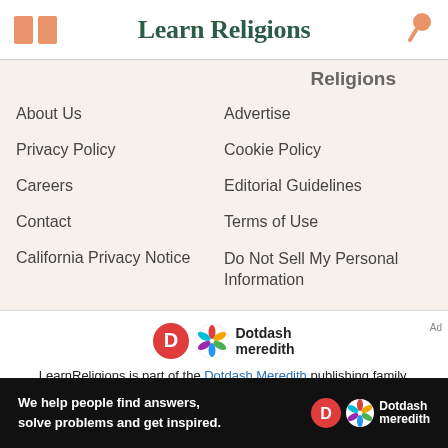Learn Religions
Religions
About Us
Privacy Policy
Careers
Contact
California Privacy Notice
Advertise
Cookie Policy
Editorial Guidelines
Terms of Use
Do Not Sell My Personal Information
[Figure (logo): Dotdash Meredith logo with D icon and colorful asterisk]
LearnReligions is part of the Dotdash Meredith publishing family.
We've updated our Privacy Policy, which will go in to effect on
[Figure (logo): Dotdash Meredith ad banner with text: We help people find answers, solve problems and get inspired.]